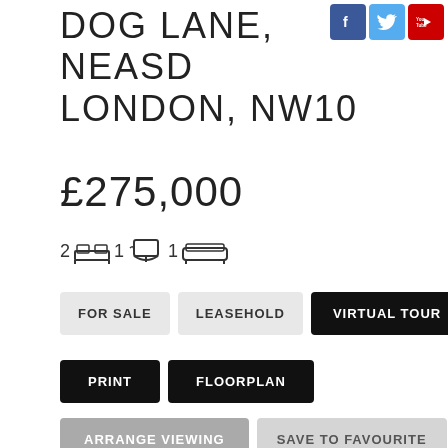DOG LANE, NEASDEN, LONDON, NW10
£275,000
2 [bed] 1 [bath] 1 [sofa]
FOR SALE | LEASEHOLD | VIRTUAL TOUR
PRINT | FLOORPLAN
ARRANGE VIEWING | SAVE TO FAVOURITE
[Figure (other): Loading spinner icon]